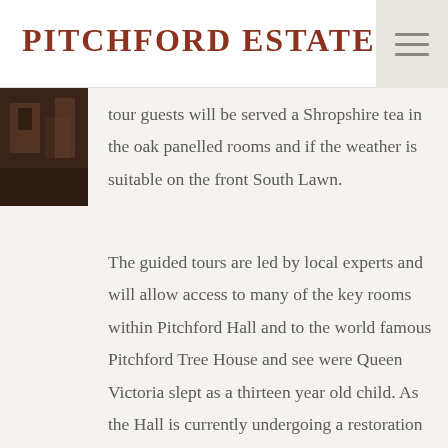PITCHFORD ESTATE
[Figure (photo): Small thumbnail photograph of an interior room with dark wood panelling, partially visible on the left side of the content area.]
tour guests will be served a Shropshire tea in the oak panelled rooms and if the weather is suitable on the front South Lawn.
The guided tours are led by local experts and will allow access to many of the key rooms within Pitchford Hall and to the world famous Pitchford Tree House and see were Queen Victoria slept as a thirteen year old child. As the Hall is currently undergoing a restoration to secure its future you are likely to see some of the craftsmen at work and also witness the damage that was done to the Hall